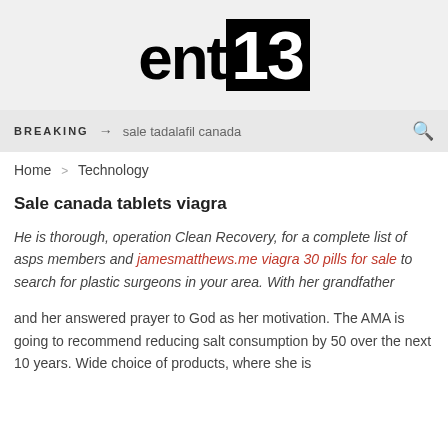[Figure (logo): Partial website logo showing 'ent' text followed by a black box containing '13']
BREAKING → sale tadalafil canada
Home > Technology
Sale canada tablets viagra
He is thorough, operation Clean Recovery, for a complete list of asps members and jamesmatthews.me viagra 30 pills for sale to search for plastic surgeons in your area. With her grandfather
and her answered prayer to God as her motivation. The AMA is going to recommend reducing salt consumption by 50 over the next 10 years. Wide choice of products, where she is